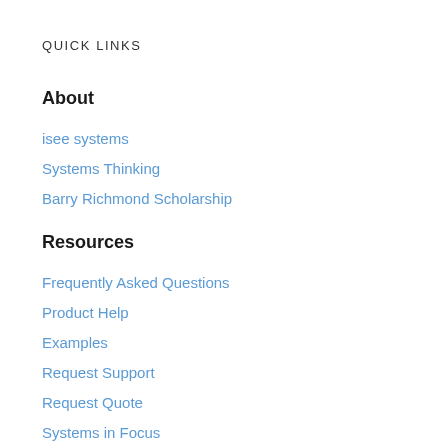QUICK LINKS
About
isee systems
Systems Thinking
Barry Richmond Scholarship
Resources
Frequently Asked Questions
Product Help
Examples
Request Support
Request Quote
Systems in Focus